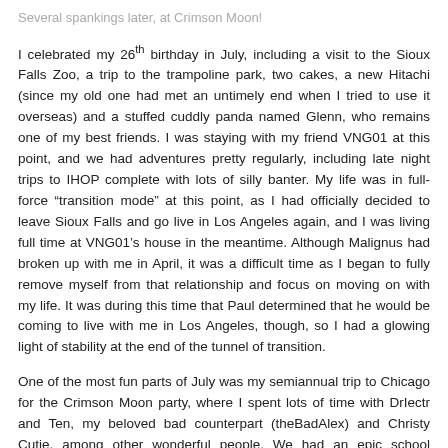Several spankings later, at Crimson Moon!
I celebrated my 26th birthday in July, including a visit to the Sioux Falls Zoo, a trip to the trampoline park, two cakes, a new Hitachi (since my old one had met an untimely end when I tried to use it overseas) and a stuffed cuddly panda named Glenn, who remains one of my best friends. I was staying with my friend VNG01 at this point, and we had adventures pretty regularly, including late night trips to IHOP complete with lots of silly banter. My life was in full-force “transition mode” at this point, as I had officially decided to leave Sioux Falls and go live in Los Angeles again, and I was living full time at VNG01’s house in the meantime. Although Malignus had broken up with me in April, it was a difficult time as I began to fully remove myself from that relationship and focus on moving on with my life. It was during this time that Paul determined that he would be coming to live with me in Los Angeles, though, so I had a glowing light of stability at the end of the tunnel of transition.
One of the most fun parts of July was my semiannual trip to Chicago for the Crimson Moon party, where I spent lots of time with DrIectr and Ten, my beloved bad counterpart (theBadAlex) and Christy Cutie, among other wonderful people. We had an epic school roleplay complete with a gaggle of naughty school girls in uniform, desks,